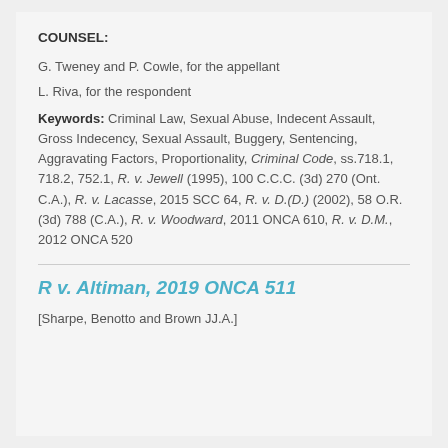COUNSEL:
G. Tweney and P. Cowle, for the appellant
L. Riva, for the respondent
Keywords: Criminal Law, Sexual Abuse, Indecent Assault, Gross Indecency, Sexual Assault, Buggery, Sentencing, Aggravating Factors, Proportionality, Criminal Code, ss.718.1, 718.2, 752.1, R. v. Jewell (1995), 100 C.C.C. (3d) 270 (Ont. C.A.), R. v. Lacasse, 2015 SCC 64, R. v. D.(D.) (2002), 58 O.R. (3d) 788 (C.A.), R. v. Woodward, 2011 ONCA 610, R. v. D.M., 2012 ONCA 520
R v. Altiman, 2019 ONCA 511
[Sharpe, Benotto and Brown JJ.A.]